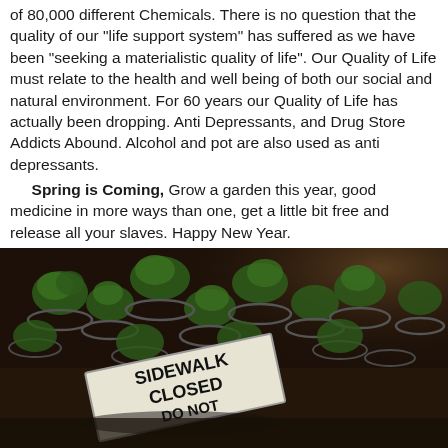of 80,000 different Chemicals. There is no question that the quality of our "life support system" has suffered as we have been "seeking a materialistic quality of life". Our Quality of Life must relate to the health and well being of both our social and natural environment. For 60 years our Quality of Life has actually been dropping. Anti Depressants, and Drug Store Addicts Abound. Alcohol and pot are also used as anti depressants.

Spring is Coming, Grow a garden this year, good medicine in more ways than one, get a little bit free and release all your slaves. Happy New Year.
[Figure (photo): A dark photo showing potted plants (small green plants in circular pots/containers) arranged on soil/ground. In the foreground is a white 'SIDEWALK CLOSED DO NOT' sign lying on the ground among the pots.]